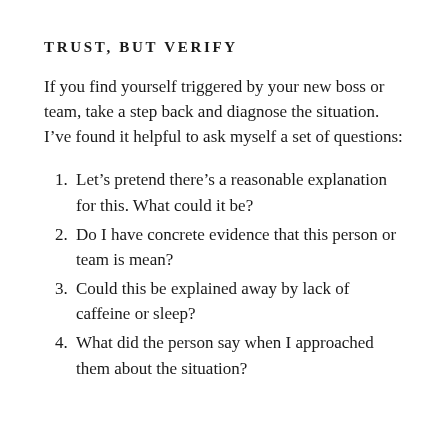TRUST, BUT VERIFY
If you find yourself triggered by your new boss or team, take a step back and diagnose the situation. I’ve found it helpful to ask myself a set of questions:
Let’s pretend there’s a reasonable explanation for this. What could it be?
Do I have concrete evidence that this person or team is mean?
Could this be explained away by lack of caffeine or sleep?
What did the person say when I approached them about the situation?